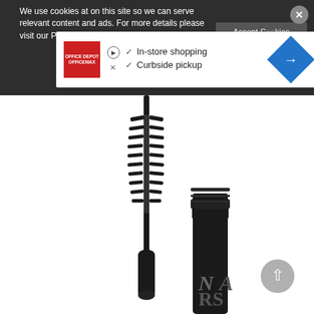We use cookies at on this site so we can serve relevant content and ads. For more details please visit our Privacy and Cookie Information Policy
[Figure (screenshot): Ad popup showing Office Depot/OfficeMax logo with checkmarks for In-store shopping and Curbside pickup, and a blue directional road sign arrow]
[Figure (photo): NARS mascara product with wand removed from tube, shown on white background]
[Figure (other): Grey circular scroll-to-top button with upward chevron arrow]